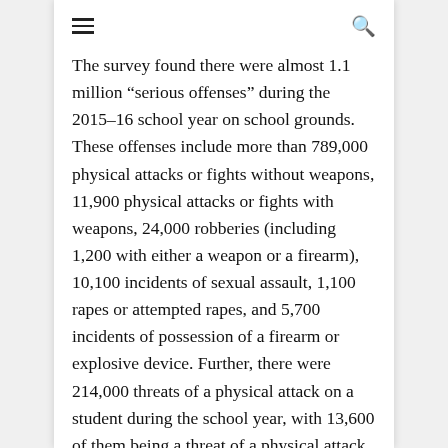≡  🔍
The survey found there were almost 1.1 million “serious offenses” during the 2015–16 school year on school grounds. These offenses include more than 789,000 physical attacks or fights without weapons, 11,900 physical attacks or fights with weapons, 24,000 robberies (including 1,200 with either a weapon or a firearm), 10,100 incidents of sexual assault, 1,100 rapes or attempted rapes, and 5,700 incidents of possession of a firearm or explosive device. Further, there were 214,000 threats of a physical attack on a student during the school year, with 13,600 of them being a threat of a physical attack with a weapon.